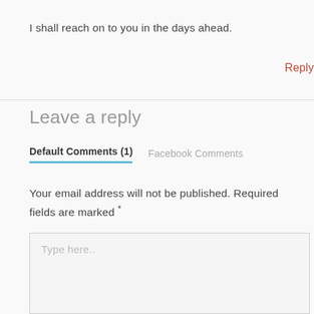I shall reach on to you in the days ahead.
Reply
Leave a reply
Default Comments (1)   Facebook Comments
Your email address will not be published. Required fields are marked *
Type here..